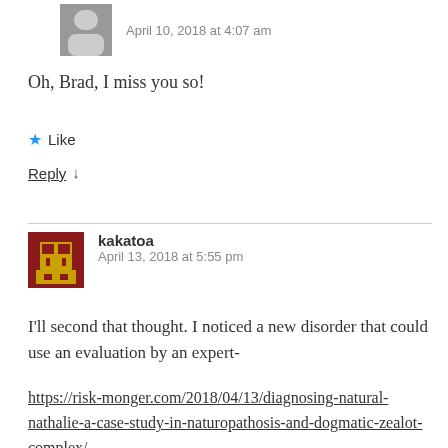April 10, 2018 at 4:07 am
Oh, Brad, I miss you so!
Like
Reply
kakatoa
April 13, 2018 at 5:55 pm
I'll second that thought. I noticed a new disorder that could use an evaluation by an expert-
https://risk-monger.com/2018/04/13/diagnosing-natural-nathalie-a-case-study-in-naturopathosis-and-dogmatic-zealot-complex/